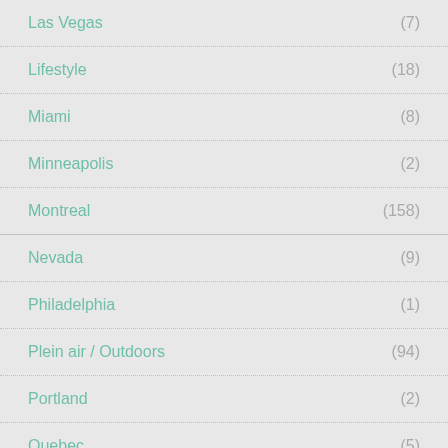Las Vegas (7)
Lifestyle (18)
Miami (8)
Minneapolis (2)
Montreal (158)
Nevada (9)
Philadelphia (1)
Plein air / Outdoors (94)
Portland (2)
Quebec (5)